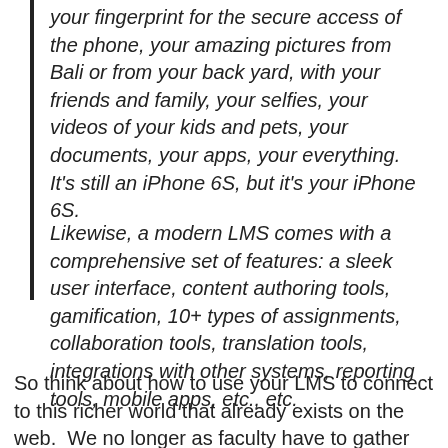your fingerprint for the secure access of the phone, your amazing pictures from Bali or from your back yard, with your friends and family, your selfies, your videos of your kids and pets, your documents, your apps, your everything. It's still an iPhone 6S, but it's your iPhone 6S.
Likewise, a modern LMS comes with a comprehensive set of features: a sleek user interface, content authoring tools, gamification, 10+ types of assignments, collaboration tools, translation tools, integrations with other systems, reporting tools, mobile apps, etc., etc.
So think about how to use your LMS to connect to this richer world that already exists on the web.  We no longer as faculty have to gather the course material and present